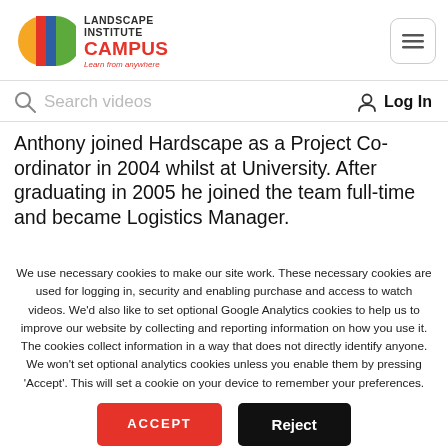[Figure (logo): Landscape Institute Campus logo with colorful semicircle/block shapes and text 'LANDSCAPE INSTITUTE CAMPUS Learn from anywhere']
[Figure (screenshot): Navigation menu button (hamburger icon) in rounded rectangle]
Search videos
Log In
Anthony joined Hardscape as a Project Co-ordinator in 2004 whilst at University. After graduating in 2005 he joined the team full-time and became Logistics Manager.
We use necessary cookies to make our site work. These necessary cookies are used for logging in, security and enabling purchase and access to watch videos. We'd also like to set optional Google Analytics cookies to help us to improve our website by collecting and reporting information on how you use it. The cookies collect information in a way that does not directly identify anyone. We won't set optional analytics cookies unless you enable them by pressing 'Accept'. This will set a cookie on your device to remember your preferences.
ACCEPT
Reject
Cookie settings LI privacy policy